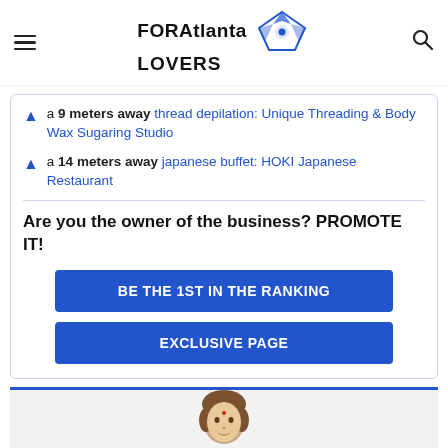FORAtlanta LOVERS
a 9 meters away thread depilation: Unique Threading & Body Wax Sugaring Studio
a 14 meters away japanese buffet: HOKI Japanese Restaurant
Are you the owner of the business? PROMOTE IT!
BE THE 1ST IN THE RANKING
EXCLUSIVE PAGE
[Figure (illustration): Avatar illustration of a person at the bottom of the page]